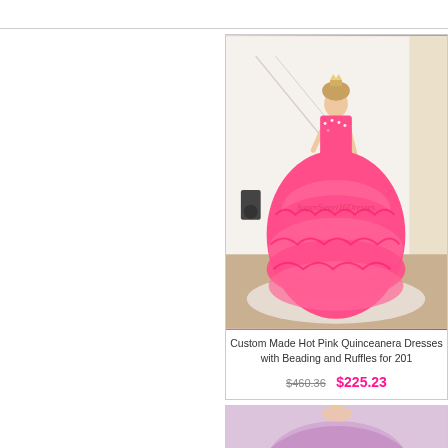[Figure (photo): Photo of a model wearing a hot pink strapless ball gown quinceanera dress with beading and ruffles, with 'SuperSweet16Dresses' watermark, displayed on an e-commerce product listing page]
Custom Made Hot Pink Quinceanera Dresses with Beading and Ruffles for 201
$460.36  $225.23
[Figure (photo): Partial photo of another dress product at bottom of page, showing a purple/lavender ball gown]